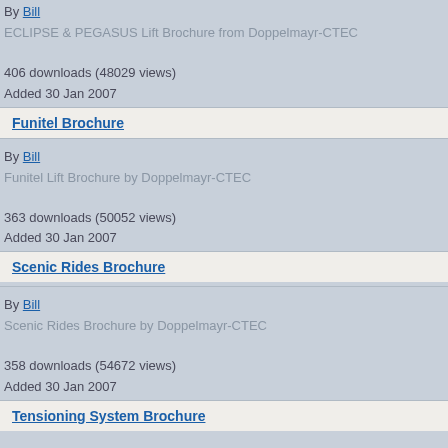By Bill
ECLIPSE & PEGASUS Lift Brochure from Doppelmayr-CTEC
406 downloads (48029 views)
Added 30 Jan 2007
Funitel Brochure
By Bill
Funitel Lift Brochure by Doppelmayr-CTEC
363 downloads (50052 views)
Added 30 Jan 2007
Scenic Rides Brochure
By Bill
Scenic Rides Brochure by Doppelmayr-CTEC
358 downloads (54672 views)
Added 30 Jan 2007
Tensioning System Brochure